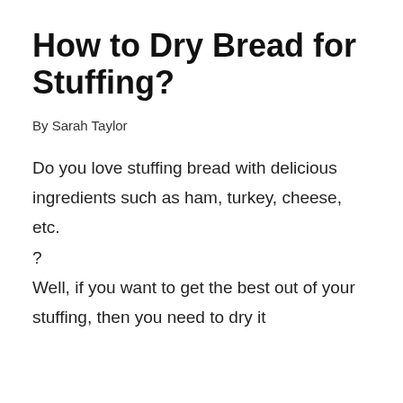How to Dry Bread for Stuffing?
By Sarah Taylor
Do you love stuffing bread with delicious ingredients such as ham, turkey, cheese, etc.
?
Well, if you want to get the best out of your stuffing, then you need to dry it